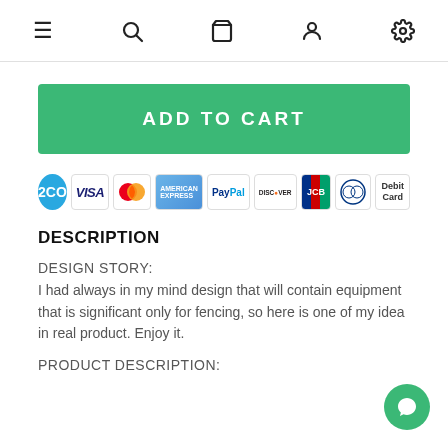Navigation icons: menu, search, cart, account, settings
ADD TO CART
[Figure (logo): Payment method icons: 2CO, VISA, Mastercard, American Express, PayPal, Discover, JCB, Diners Club, Debit Card]
DESCRIPTION
DESIGN STORY:
I had always in my mind design that will contain equipment that is significant only for fencing, so here is one of my idea in real product. Enjoy it.
PRODUCT DESCRIPTION: